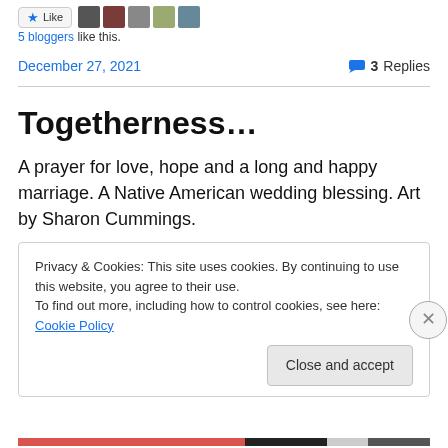[Figure (other): Like button with star icon and five user avatar thumbnails]
5 bloggers like this.
December 27, 2021   3 Replies
Togetherness…
A prayer for love, hope and a long and happy marriage. A Native American wedding blessing. Art by Sharon Cummings.
Privacy & Cookies: This site uses cookies. By continuing to use this website, you agree to their use.
To find out more, including how to control cookies, see here: Cookie Policy
Close and accept